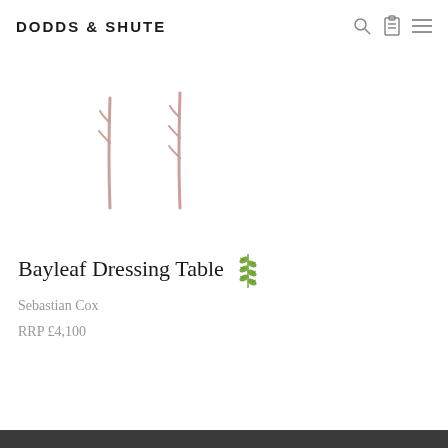DODDS & SHUTE
[Figure (illustration): Product image area showing two thin vertical stick/twig shapes in a muted rose/pink color against white background, representing a dressing table or furniture piece]
Bayleaf Dressing Table
Sebastian Cox
RRP £4,100